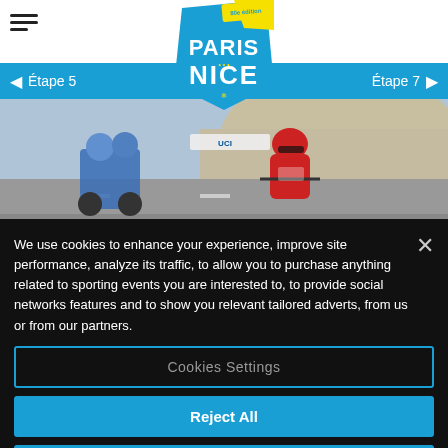[Figure (logo): Hamburger menu icon (three horizontal lines)]
[Figure (logo): Paris-Nice cycling race logo: yellow and blue angular shield with '80e édition PARIS NICE' text]
◄  Étape 5       Étape 7  ►
[Figure (photo): Cyclist in red kit racing on mountain road, with motorcycle escort in blue]
We use cookies to enhance your experience, improve site performance, analyze its traffic, to allow you to purchase anything related to sporting events you are interested to, to provide social networks features and to show you relevant tailored adverts, from us or from our partners.
Cookies Settings
Reject All
Accept All Cookies